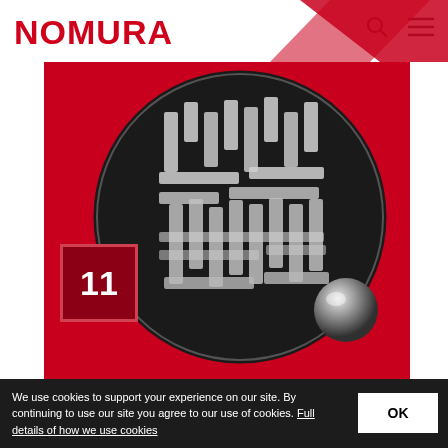[Figure (logo): Nomura logo in red text]
[Figure (illustration): 3D maze sphere with metallic ball on red background, number 11 badge overlay]
The longer-run outlook for EM
We use cookies to support your experience on our site. By continuing to use our site you agree to our use of cookies. Full details of how we use cookies